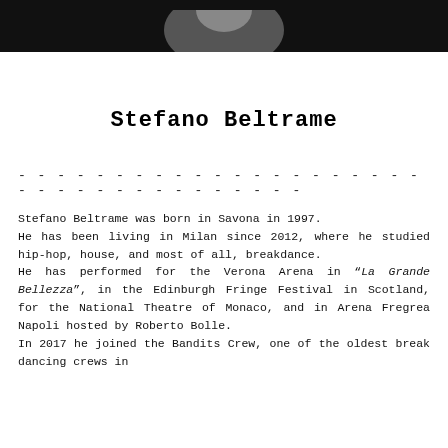[Figure (photo): Black and white photo of a person, cropped at top of page]
Stefano Beltrame
Stefano Beltrame was born in Savona in 1997.
He has been living in Milan since 2012, where he studied hip-hop, house, and most of all, breakdance.
He has performed for the Verona Arena in "La Grande Bellezza", in the Edinburgh Fringe Festival in Scotland, for the National Theatre of Monaco, and in Arena Fregrea Napoli hosted by Roberto Bolle.
In 2017 he joined the Bandits Crew, one of the oldest break dancing crews in